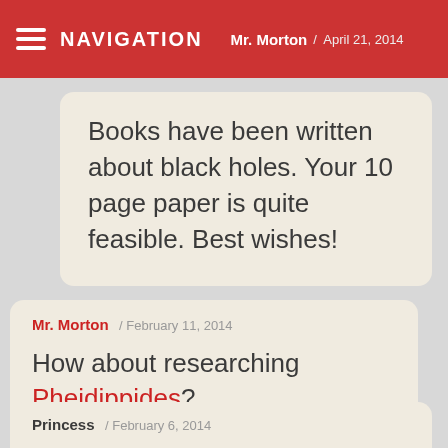NAVIGATION / Mr. Morton / April 21, 2014
Books have been written about black holes. Your 10 page paper is quite feasible. Best wishes!
Mr. Morton / February 11, 2014
How about researching Pheidippides?
Princess / February 6, 2014